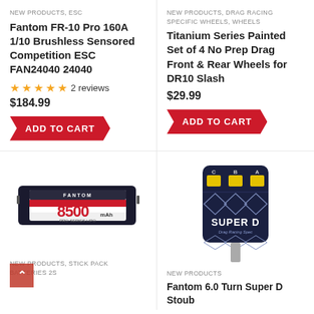NEW PRODUCTS, ESC
Fantom FR-10 Pro 160A 1/10 Brushless Sensored Competition ESC FAN24040 24040
★★★★★ 2 reviews
$184.99
ADD TO CART
NEW PRODUCTS, DRAG RACING SPECIFIC WHEELS, WHEELS
Titanium Series Painted Set of 4 No Prep Drag Front & Rear Wheels for DR10 Slash
$29.99
ADD TO CART
[Figure (photo): LiPo battery pack labeled 8500, red/white/black design, stick pack 2S]
[Figure (photo): Dark blue brushless motor with 'SUPER D' text and yellow terminals, Fantom brand]
NEW PRODUCTS, STICK PACK BATTERIES 2S
NEW PRODUCTS
Fantom 6.0 Turn Super D Stoub